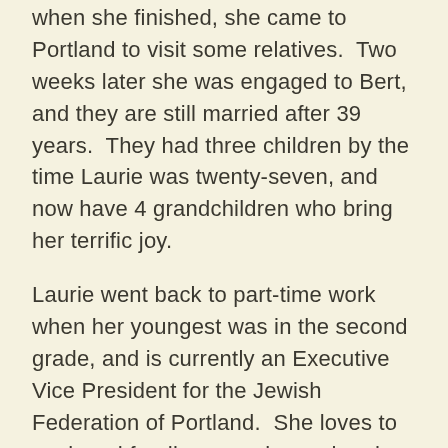when she finished, she came to Portland to visit some relatives.  Two weeks later she was engaged to Bert, and they are still married after 39 years.  They had three children by the time Laurie was twenty-seven, and now have 4 grandchildren who bring her terrific joy.
Laurie went back to part-time work when her youngest was in the second grade, and is currently an Executive Vice President for the Jewish Federation of Portland.  She loves to cook and fondly remembers when her grandfather showed her how to make gefilte fish.  The hardest part of it all was trying to figure out how much a handful and a pinch equaled, following him around so she could empty the contents of his hands and pinched fingers into measuring devices so she'd have an actual recipe by the time the lesson was through.